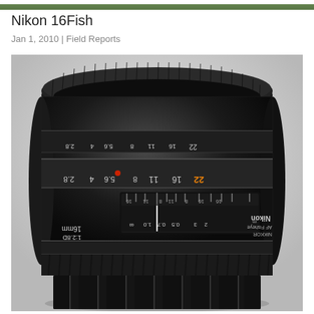[Figure (photo): Top strip showing partial green/outdoor scene at top edge of page]
Nikon 16Fish
Jan 1, 2010 | Field Reports
[Figure (photo): Close-up photograph of a Nikon AF Fisheye NIKKOR 16mm 1:2.8D lens, shot from front-top angle showing the lens barrel with aperture and focus scales. The lens is black with gold and orange markings showing aperture values (2.8, 4, 5.6, 8, 11, 16, 22) and focus distance markings (0.2, 0.3, 0.5, 0.7, 1.0 and infinity symbol). Text on lens reads: Nikon AF Fisheye NIKKOR 16mm 1:2.8D. Background is white/grey.]